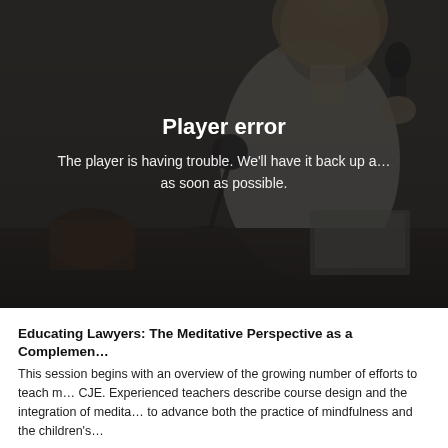[Figure (screenshot): Video player showing a woman at a podium holding a microphone, with a dark overlay displaying a 'Player error' message. The error text reads: 'Player error' and 'The player is having trouble. We'll have it back up and running as soon as possible.']
Educating Lawyers: The Meditative Perspective as a Complement
This session begins with an overview of the growing number of efforts to teach m... CJE. Experienced teachers describe course design and the integration of medita... to advance both the practice of mindfulness and the children's...